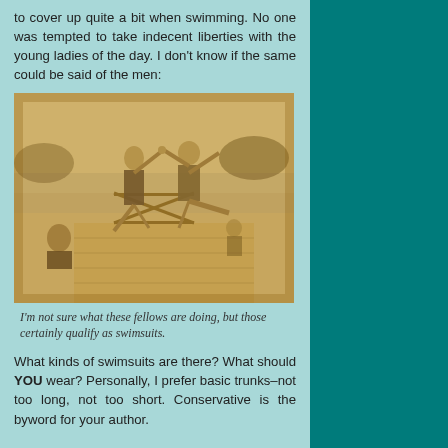to cover up quite a bit when swimming. No one was tempted to take indecent liberties with the young ladies of the day. I don't know if the same could be said of the men:
[Figure (photo): Vintage sepia photograph of two men in early 20th century swimsuits posing dramatically on a wooden dock near water, with two other people visible in the background.]
I'm not sure what these fellows are doing, but those certainly qualify as swimsuits.
What kinds of swimsuits are there? What should YOU wear? Personally, I prefer basic trunks–not too long, not too short. Conservative is the byword for your author.